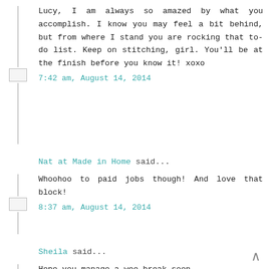Lucy, I am always so amazed by what you accomplish. I know you may feel a bit behind, but from where I stand you are rocking that to-do list. Keep on stitching, girl. You'll be at the finish before you know it! xoxo
7:42 am, August 14, 2014
Nat at Made in Home said...
Whoohoo to paid jobs though! And love that block!
8:37 am, August 14, 2014
Sheila said...
Hope you manage a wee break soon